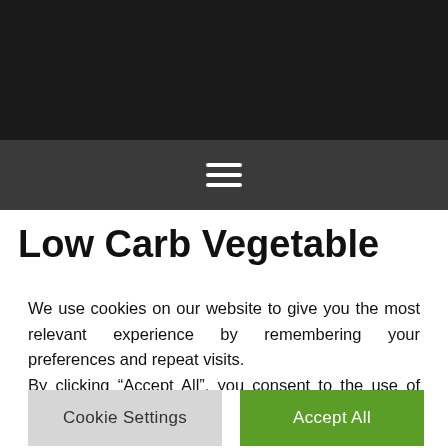Low Carb Vegetable Soup In
We use cookies on our website to give you the most relevant experience by remembering your preferences and repeat visits.
By clicking “Accept All”, you consent to the use of ALL cookies to allow us to offer you the best experience.
You may visit "Cookie Settings" to provide a controlled consent.
Cookie Settings    Accept All